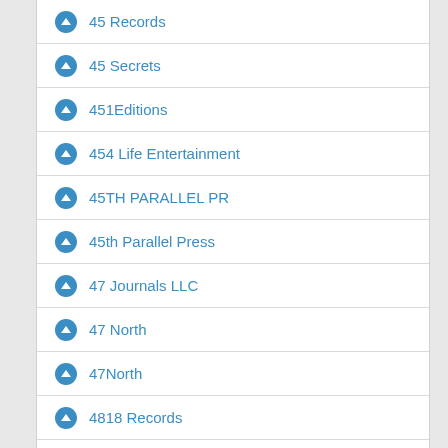45 Records
45 Secrets
451Editions
454 Life Entertainment
45TH PARALLEL PR
45th Parallel Press
47 Journals LLC
47 North
47North
4818 Records
48500/A&M